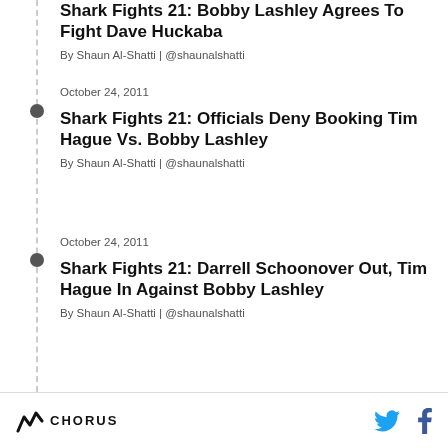Shark Fights 21: Bobby Lashley Agrees To Fight Dave Huckaba
By Shaun Al-Shatti | @shaunalshatti
October 24, 2011
Shark Fights 21: Officials Deny Booking Tim Hague Vs. Bobby Lashley
By Shaun Al-Shatti | @shaunalshatti
October 24, 2011
Shark Fights 21: Darrell Schoonover Out, Tim Hague In Against Bobby Lashley
By Shaun Al-Shatti | @shaunalshatti
CHORUS